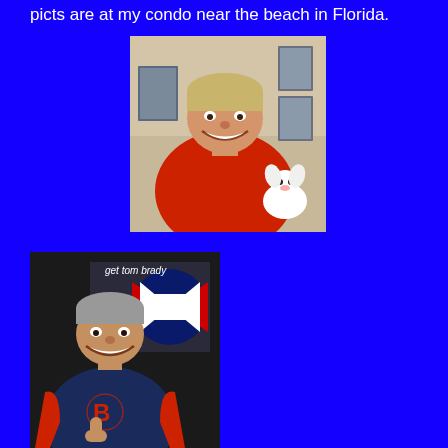picts are at my condo near the beach in Florida.
[Figure (photo): Man in a red shirt smiling and holding a small white fluffy dog, with photos/memorabilia visible in the background.]
[Figure (photo): Man wearing a Boston Red Sox jacket giving a thumbs up, with a New England Patriots logo/banner visible in the background and text 'get tom brady' visible at top.]